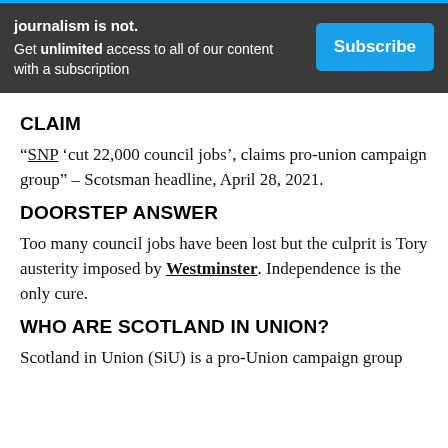journalism is not. Get unlimited access to all of our content with a subscription | Subscribe
CLAIM
“SNP ‘cut 22,000 council jobs’, claims pro-union campaign group” – Scotsman headline, April 28, 2021.
DOORSTEP ANSWER
Too many council jobs have been lost but the culprit is Tory austerity imposed by Westminster. Independence is the only cure.
WHO ARE SCOTLAND IN UNION?
Scotland in Union (SiU) is a pro-Union campaign group launched in March 2015. It tends to be described as...